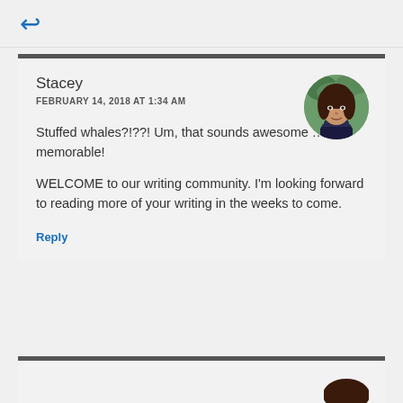Stacey
FEBRUARY 14, 2018 AT 1:34 AM
[Figure (photo): Circular avatar photo of a woman with dark curly hair, wearing a dark top, with greenery background]
Stuffed whales?!??! Um, that sounds awesome … and memorable!
WELCOME to our writing community. I’m looking forward to reading more of your writing in the weeks to come.
Reply